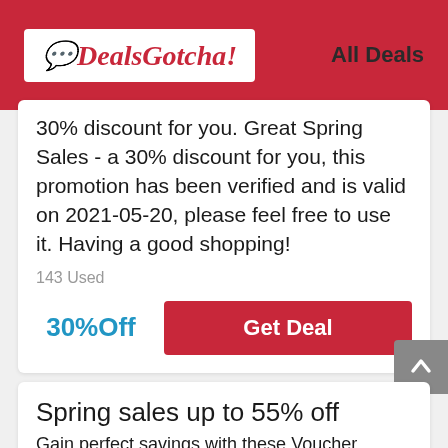DealsGotcha! All Deals
30% discount for you. Great Spring Sales - a 30% discount for you, this promotion has been verified and is valid on 2021-05-20, please feel free to use it. Having a good shopping!
143 Used
30%Off
Get Deal
Spring sales up to 55% off
Gain perfect savings with these Voucher